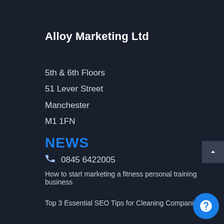Alloy Marketing Ltd
5th & 6th Floors
51 Lever Street
Manchester
M1 1FN
0845 6422005
NEWS
How to start marketing a fitness personal training business
Top 3 Essential SEO Tips for Cleaning Companies